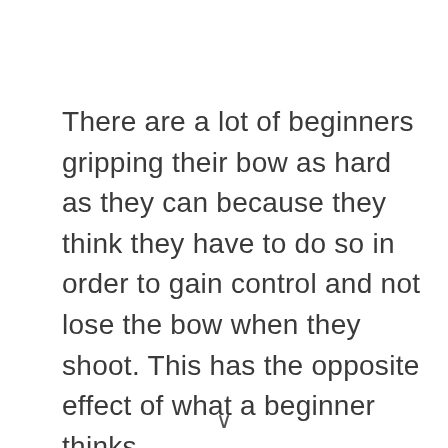There are a lot of beginners gripping their bow as hard as they can because they think they have to do so in order to gain control and not lose the bow when they shoot. This has the opposite effect of what a beginner thinks.